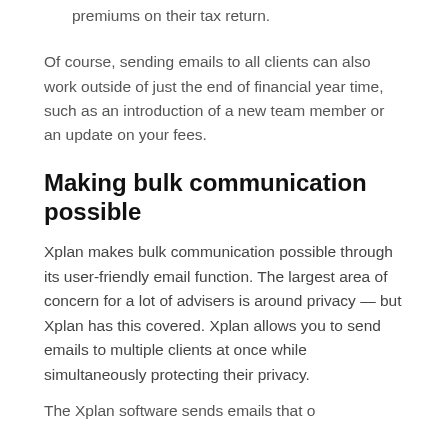premiums on their tax return.
Of course, sending emails to all clients can also work outside of just the end of financial year time, such as an introduction of a new team member or an update on your fees.
Making bulk communication possible
Xplan makes bulk communication possible through its user-friendly email function. The largest area of concern for a lot of advisers is around privacy — but Xplan has this covered. Xplan allows you to send emails to multiple clients at once while simultaneously protecting their privacy.
The Xplan software sends emails that...